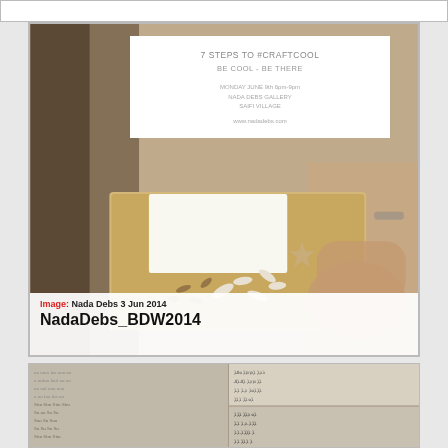[Figure (photo): Top white strip, partial header image cropped at top]
[Figure (photo): Main craft workshop photo: hands working on decorative wooden tray with cut-out leaf/petal shapes. Overlaid with white invitation card reading '7 STEPS TO #CRAFTCOOL / BE COOL - BE THERE / MONDAY JUNE 9th 6pm-9pm / NADA DEBS GALLERY / SAIFI VILLAGE / www.nadadebs.com']
Image: Nada Debs 3 Jun 2014
NadaDebs_BDW2014
[Figure (photo): Close-up photo of engraved stone or ceramic tiles with Arabic script text patterns]